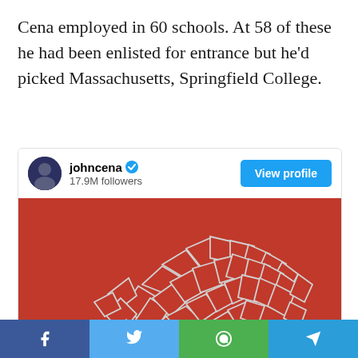Cena employed in 60 schools. At 58 of these he had been enlisted for entrance but he'd picked Massachusetts, Springfield College.
[Figure (screenshot): Instagram-style social media card for user 'johncena' with verified badge, 17.9M followers, a 'View profile' button, and a photo of broken glass/mirror pieces arranged on a red background.]